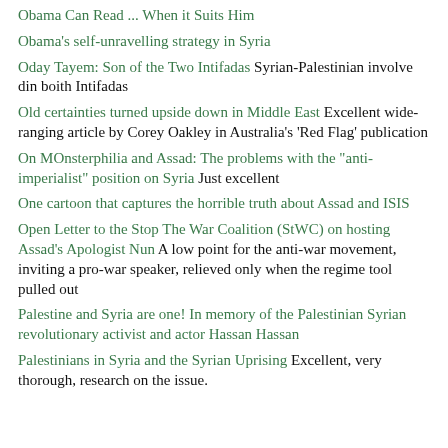Obama Can Read ... When it Suits Him
Obama's self-unravelling strategy in Syria
Oday Tayem: Son of the Two Intifadas Syrian-Palestinian involve din boith Intifadas
Old certainties turned upside down in Middle East Excellent wide-ranging article by Corey Oakley in Australia's 'Red Flag' publication
On MOnsterphilia and Assad: The problems with the "anti-imperialist" position on Syria Just excellent
One cartoon that captures the horrible truth about Assad and ISIS
Open Letter to the Stop The War Coalition (StWC) on hosting Assad's Apologist Nun A low point for the anti-war movement, inviting a pro-war speaker, relieved only when the regime tool pulled out
Palestine and Syria are one! In memory of the Palestinian Syrian revolutionary activist and actor Hassan Hassan
Palestinians in Syria and the Syrian Uprising Excellent, very thorough, research on the issue.